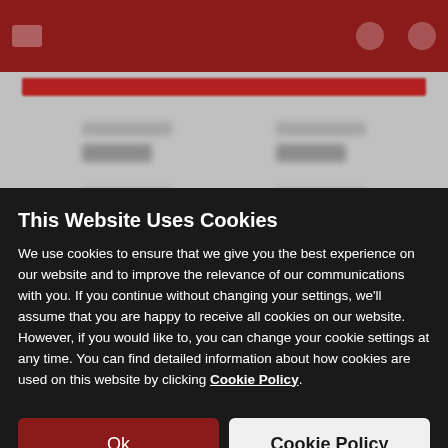[Figure (screenshot): Blurred background showing a website with a dark red header navigation bar and blurred content beneath]
This Website Uses Cookies
We use cookies to ensure that we give you the best experience on our website and to improve the relevance of our communications with you. If you continue without changing your settings, we'll assume that you are happy to receive all cookies on our website. However, if you would like to, you can change your cookie settings at any time. You can find detailed information about how cookies are used on this website by clicking Cookie Policy.